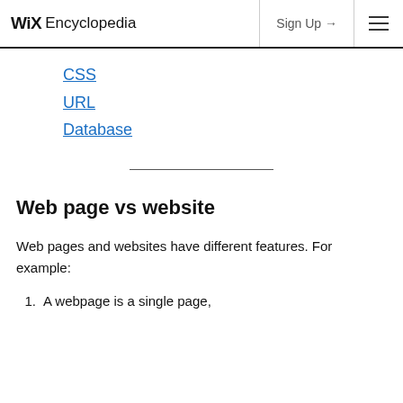WiX Encyclopedia | Sign Up → | ☰
CSS
URL
Database
Web page vs website
Web pages and websites have different features. For example:
1. A webpage is a single page,